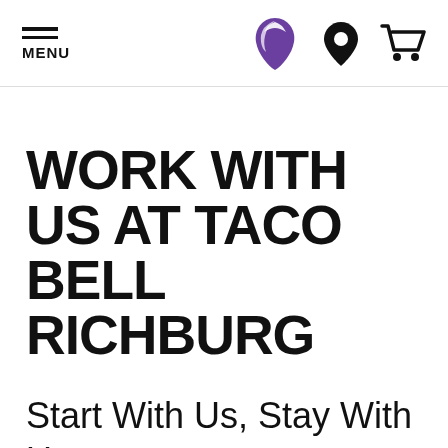MENU | Taco Bell Logo | Location icon | Cart icon
WORK WITH US AT TACO BELL RICHBURG
Start With Us, Stay With Us